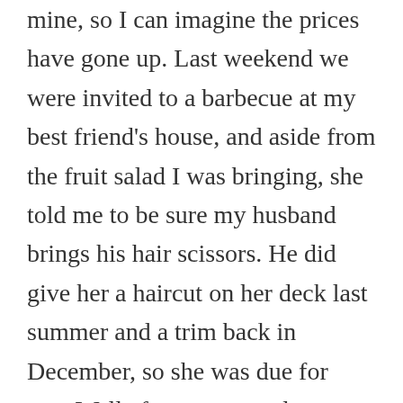mine, so I can imagine the prices have gone up. Last weekend we were invited to a barbecue at my best friend's house, and aside from the fruit salad I was bringing, she told me to be sure my husband brings his hair scissors. He did give her a haircut on her deck last summer and a trim back in December, so she was due for one. Well after we ate and were hanging out on the deck, she asked if he brought his scissors. He went to the car to get his bag of hair tools and she got a stool from the kitchen. So he caped her and did her haircut as we chatted and sipped wine coolers. After he finished, my friend's coworker at the party complimented his work and said it must be nice having your stylist come to your